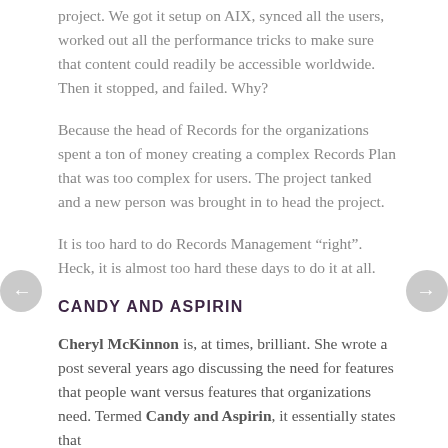project. We got it setup on AIX, synced all the users, worked out all the performance tricks to make sure that content could readily be accessible worldwide. Then it stopped, and failed. Why?
Because the head of Records for the organizations spent a ton of money creating a complex Records Plan that was too complex for users. The project tanked and a new person was brought in to head the project.
It is too hard to do Records Management “right”. Heck, it is almost too hard these days to do it at all.
CANDY AND ASPIRIN
Cheryl McKinnon is, at times, brilliant. She wrote a post several years ago discussing the need for features that people want versus features that organizations need. Termed Candy and Aspirin, it essentially states that